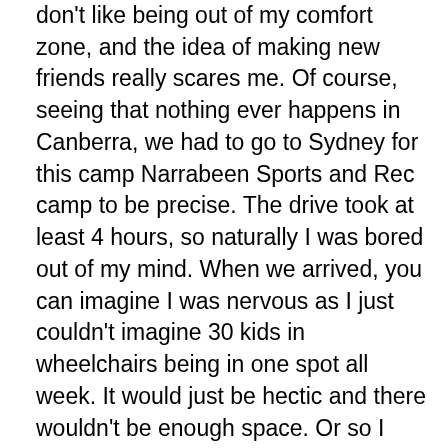don't like being out of my comfort zone, and the idea of making new friends really scares me. Of course, seeing that nothing ever happens in Canberra, we had to go to Sydney for this camp Narrabeen Sports and Rec camp to be precise. The drive took at least 4 hours, so naturally I was bored out of my mind. When we arrived, you can imagine I was nervous as I just couldn't imagine 30 kids in wheelchairs being in one spot all week. It would just be hectic and there wouldn't be enough space. Or so I thought.
So we went to meet my carer,  Kelly,  who would help me with everything throughout the week (the carers were physiotherapy students). We went to our room and a few minutes later my roommate arrived. Her name was Bodene and her carer was Elise.  Bodene was 4 years older than me, but that didn't stop us from clicking straight